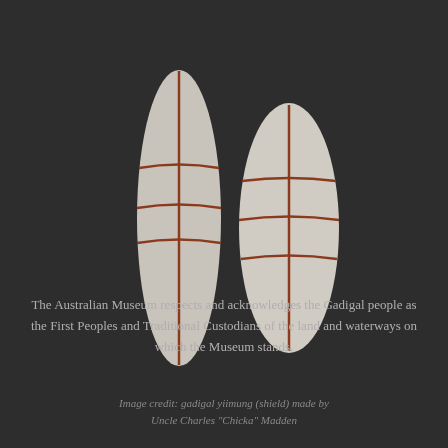[Figure (illustration): Two elongated leaf/shield-shaped objects (gadigal yiimung shields) with reddish-brown line decorations on a dark background. The left shield is taller and narrower; the right shield is slightly shorter and wider.]
The Australian Museum respects and acknowledges the Gadigal people as the First Peoples and Traditional Custodians of the land and waterways on which the Museum stands.
Image credit: gadigal yiimung (shield) made by Uncle Charles "Chicka" Madden